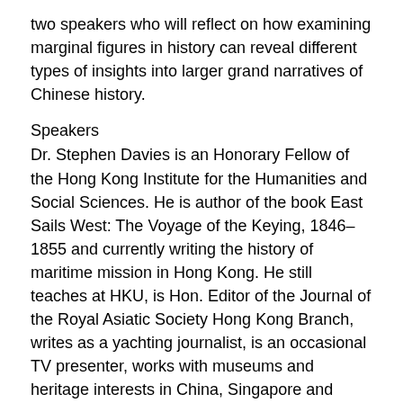two speakers who will reflect on how examining marginal figures in history can reveal different types of insights into larger grand narratives of Chinese history.
Speakers
Dr. Stephen Davies is an Honorary Fellow of the Hong Kong Institute for the Humanities and Social Sciences. He is author of the book East Sails West: The Voyage of the Keying, 1846–1855 and currently writing the history of maritime mission in Hong Kong. He still teaches at HKU, is Hon. Editor of the Journal of the Royal Asiatic Society Hong Kong Branch, writes as a yachting journalist, is an occasional TV presenter, works with museums and heritage interests in China, Singapore and Hong Kong and is an active yachtsman.
Dr. Yeewan Koon is an Associate Professor in the Fine Arts Department at the University of Hong Kong. Her book, A Defiant Brush: Su Renshan and The Politics of Painting in Early 19th Century Guangdong (2014) situates an unusual artist in a broader world, facts that took deep roots and social debates...